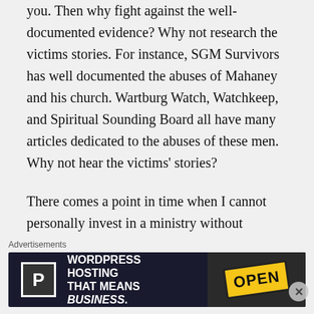you. Then why fight against the well-documented evidence? Why not research the victims stories. For instance, SGM Survivors has well documented the abuses of Mahaney and his church. Wartburg Watch, Watchkeep, and Spiritual Sounding Board all have many articles dedicated to the abuses of these men. Why not hear the victims' stories?

There comes a point in time when I cannot personally invest in a ministry without recognizing I have a moral responsibility to address its abuses. I have no desire to
Advertisements
[Figure (other): Advertisement banner for WordPress Hosting — dark background with a 'P' logo icon on the left, bold white text reading 'WORDPRESS HOSTING THAT MEANS BUSINESS.' and an 'OPEN' sign image on the right.]